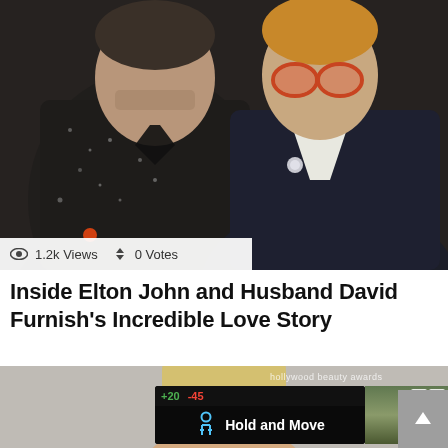[Figure (photo): Two men posing together at what appears to be a formal event. The man on the left wears a dark speckled blazer; the man on the right wears a dark floral suit with a white shirt and round orange-tinted glasses.]
1.2k Views  0 Votes
Inside Elton John and Husband David Furnish's Incredible Love Story
[Figure (photo): Partial photo of a blonde woman at the Hollywood Beauty Awards, with an ad overlay showing 'Hold and Move' with a person icon.]